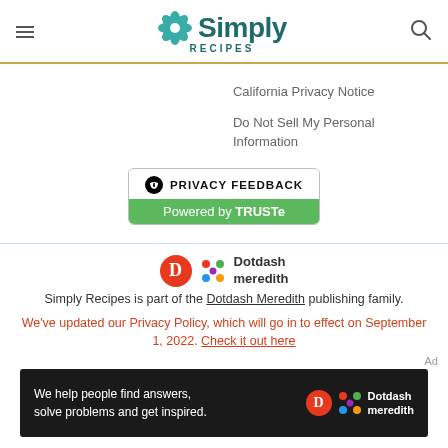Simply Recipes
California Privacy Notice
Do Not Sell My Personal Information
[Figure (logo): Privacy Feedback - Powered by TRUSTe badge]
[Figure (logo): Dotdash Meredith logo]
Simply Recipes is part of the Dotdash Meredith publishing family.
We've updated our Privacy Policy, which will go in to effect on September 1, 2022. Check it out here
Ad
[Figure (infographic): Dotdash Meredith advertisement: We help people find answers, solve problems and get inspired.]